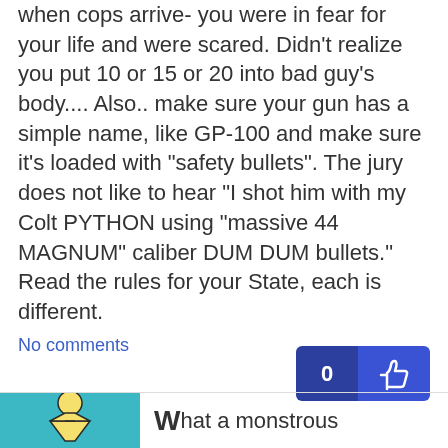when cops arrive- you were in fear for your life and were scared. Didn't realize you put 10 or 15 or 20 into bad guy's body.... Also.. make sure your gun has a simple name, like GP-100 and make sure it's loaded with "safety bullets". The jury does not like to hear "I shot him with my Colt PYTHON using "massive 44 MAGNUM" caliber DUM DUM bullets." Read the rules for your State, each is different.
No comments
[Figure (screenshot): Like/reaction bar showing count 0 and thumbs up icon on dark blue background]
[Figure (illustration): Teal background with a cartoon figure icon (person with hourglass shape)]
What a monstrous